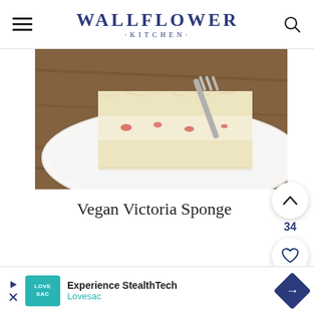WALLFLOWER · KITCHEN ·
[Figure (photo): Close-up photo of a slice of vegan Victoria sponge cake on a white plate with a fork, on a wooden table]
Vegan Victoria Sponge
[Figure (infographic): Up arrow button with vote count 34 and heart/favorite button]
[Figure (infographic): Search button (dark navy circle)]
Experience StealthTech Lovesac